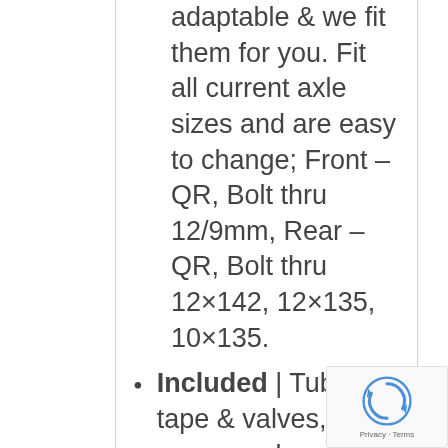adaptable & we fit them for you. Fit all current axle sizes and are easy to change; Front – QR, Bolt thru 12/9mm, Rear – QR, Bolt thru 12×142, 12×135, 10×135.
Included | Tubeless tape & valves, spare spokes, spoke key, axle adapters (please fill in the simple form after checkout to select your required